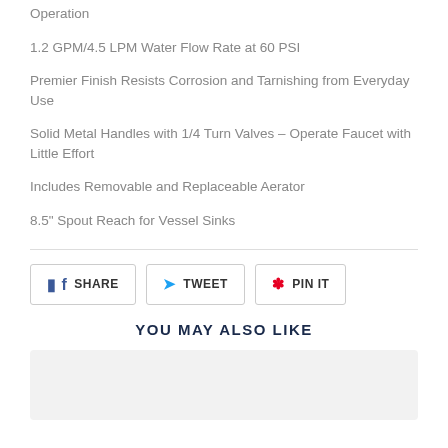Operation
1.2 GPM/4.5 LPM Water Flow Rate at 60 PSI
Premier Finish Resists Corrosion and Tarnishing from Everyday Use
Solid Metal Handles with 1/4 Turn Valves – Operate Faucet with Little Effort
Includes Removable and Replaceable Aerator
8.5" Spout Reach for Vessel Sinks
YOU MAY ALSO LIKE
[Figure (photo): Product image placeholder area]